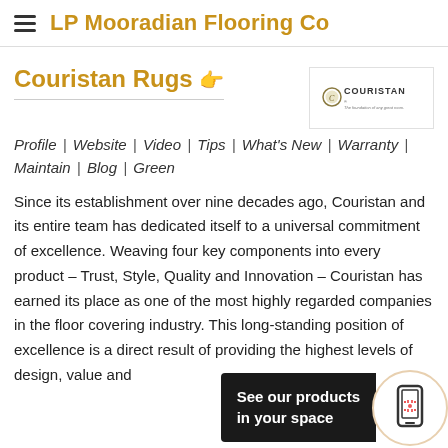LP Mooradian Flooring Co
Couristan Rugs
[Figure (logo): Couristan brand logo with text 'COURISTAN - The foundation of any great room.']
Profile | Website | Video | Tips | What's New | Warranty | Maintain | Blog | Green
Since its establishment over nine decades ago, Couristan and its entire team has dedicated itself to a universal commitment of excellence. Weaving four key components into every product – Trust, Style, Quality and Innovation – Couristan has earned its place as one of the most highly regarded companies in the floor covering industry. This long-standing position of excellence is a direct result of providing the highest levels of design, value and...
See our products in your space